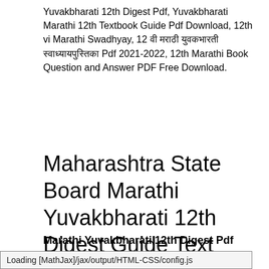Yuvakbharati 12th Digest Pdf, Yuvakbharati Marathi 12th Textbook Guide Pdf Download, 12th vi Marathi Swadhyay, 12 वी मराठी युवकभारती स्वाध्यायपुस्तिका Pdf 2021-2022, 12th Marathi Book Question and Answer PDF Free Download.
Maharashtra State Board Marathi Yuvakbharati 12th Digest Guide Text Book Solutions Answers Pdf | 12th vi Marathi Swadhyay
Marathi Yuvakbharati 12th Digest Pdf भाग-२
Loading [MathJax]/jax/output/HTML-CSS/config.js